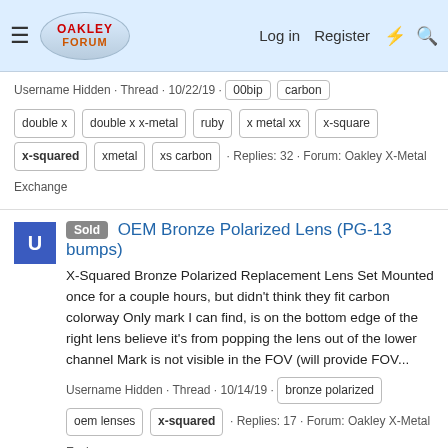Oakley Forum — Log in | Register
Username Hidden · Thread · 10/22/19 · 00bip · carbon · double x · double x x-metal · ruby · x metal xx · x-square · x-squared · xmetal · xs carbon · Replies: 32 · Forum: Oakley X-Metal Exchange
Sold OEM Bronze Polarized Lens (PG-13 bumps)
X-Squared Bronze Polarized Replacement Lens Set Mounted once for a couple hours, but didn't think they fit carbon colorway Only mark I can find, is on the bottom edge of the right lens believe it's from popping the lens out of the lower channel Mark is not visible in the FOV (will provide FOV...
Username Hidden · Thread · 10/14/19 · bronze polarized · oem lenses · x-squared · Replies: 17 · Forum: Oakley X-Metal Exchange
Sold XS DWP lenses
Prizm Deep Water Polarized (DWP) lenses Cut by Chris A